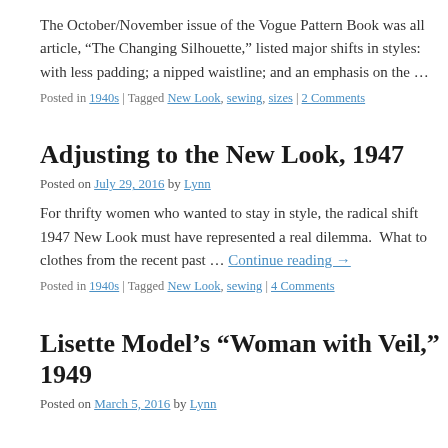The October/November issue of the Vogue Pattern Book was all article, “The Changing Silhouette,” listed major shifts in styles: with less padding; a nipped waistline; and an emphasis on the …
Posted in 1940s | Tagged New Look, sewing, sizes | 2 Comments
Adjusting to the New Look, 1947
Posted on July 29, 2016 by Lynn
For thrifty women who wanted to stay in style, the radical shift 1947 New Look must have represented a real dilemma. What to clothes from the recent past … Continue reading →
Posted in 1940s | Tagged New Look, sewing | 4 Comments
Lisette Model’s “Woman with Veil,” 1949
Posted on March 5, 2016 by Lynn